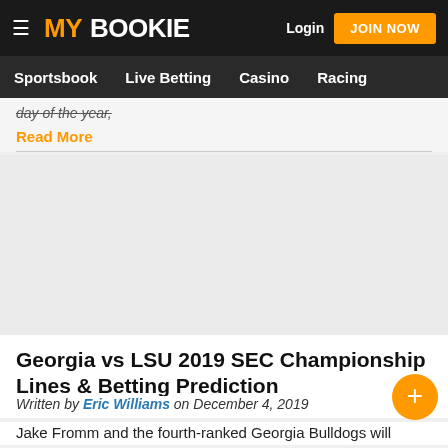MY BOOKIE | Login | JOIN NOW | Sportsbook | Live Betting | Casino | Racing
day of the year,
Read More
[Figure (other): Advertisement/blank space area]
Georgia vs LSU 2019 SEC Championship Lines & Betting Prediction
Written by Eric Williams on December 4, 2019
Jake Fromm and the fourth-ranked Georgia Bulldogs will